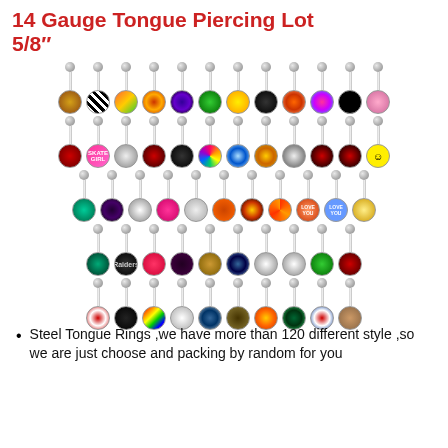14 Gauge Tongue Piercing Lot 5/8"
[Figure (photo): 5 rows of stainless steel tongue barbells with colorful decorative bottom disks featuring various designs including animals, patterns, symbols, and pop-culture motifs]
Steel Tongue Rings ,we have more than 120 different style ,so we are just choose and packing by random for you